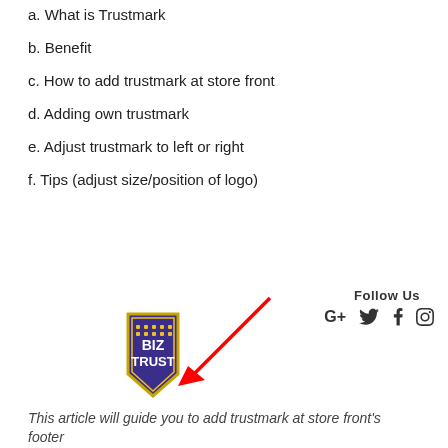a. What is Trustmark
b. Benefit
c. How to add trustmark at store front
d. Adding own trustmark
e. Adjust trustmark to left or right
f. Tips (adjust size/position of logo)
Follow Us
[Figure (logo): BizTrust shield-shaped logo with purple/gold colors and grid dots pattern, with a red arrow pointing to it]
This article will guide you to add trustmark at store front's footer